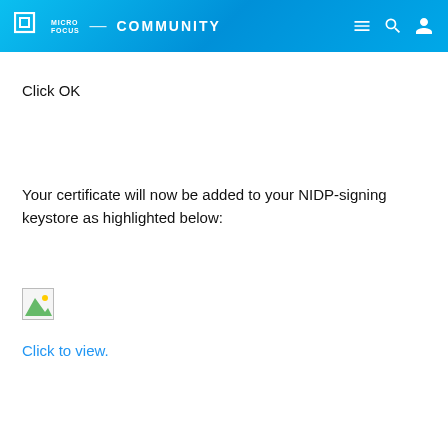Micro Focus Community
Click OK
Your certificate will now be added to your NIDP-signing keystore as highlighted below:
[Figure (screenshot): Broken image placeholder showing a small thumbnail with green triangle icon]
Click to view.